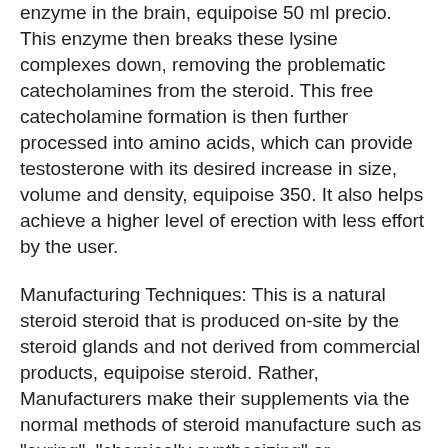enzyme in the brain, equipoise 50 ml precio. This enzyme then breaks these lysine complexes down, removing the problematic catecholamines from the steroid. This free catecholamine formation is then further processed into amino acids, which can provide testosterone with its desired increase in size, volume and density, equipoise 350. It also helps achieve a higher level of erection with less effort by the user.
Manufacturing Techniques: This is a natural steroid steroid that is produced on-site by the steroid glands and not derived from commercial products, equipoise steroid. Rather, Manufacturers make their supplements via the normal methods of steroid manufacture such as "curing", "chemically synthesizing" or "chemically modifying". Manufacturers do not purchase these products from retailers and thus are not regulated under regulations. There are